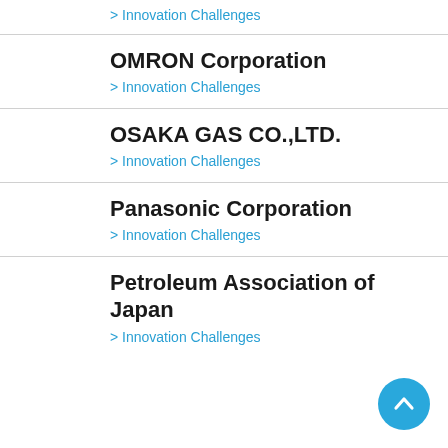> Innovation Challenges
OMRON Corporation
> Innovation Challenges
OSAKA GAS CO.,LTD.
> Innovation Challenges
Panasonic Corporation
> Innovation Challenges
Petroleum Association of Japan
> Innovation Challenges